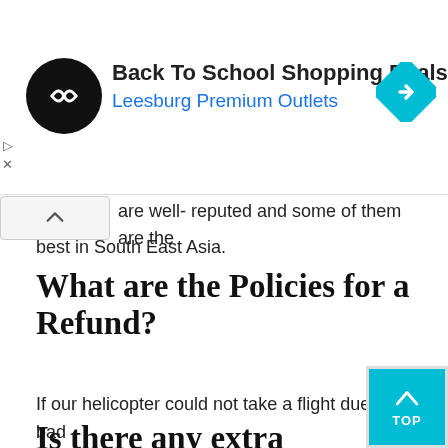[Figure (other): Advertisement banner for 'Back To School Shopping Deals' at Leesburg Premium Outlets, with a circular black logo with double arrow, a blue navigation diamond icon, and small play/close controls on the left.]
are well- reputed and some of them are the best in South East Asia.
What are the Policies for a Refund?
If our helicopter could not take a flight due to bad weather then we will try to reschedule your flight. Even though if the flight is not possible then we will offer you a full refund.
Is there any extra charge in Gorakshen to the Lukla trip by